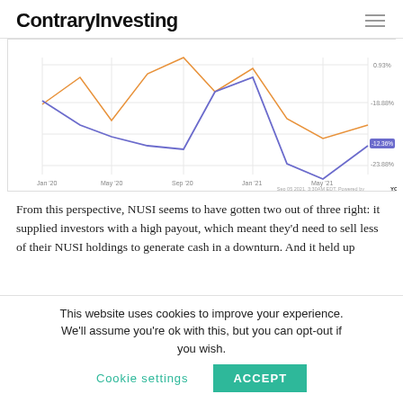ContraryInvesting
[Figure (line-chart): Two-line chart showing performance from Jan 20 to May 21. Orange line (benchmark) peaks higher. Blue/purple line (NUSI) dips to around -12.36% at end. Y-axis labels: 0.93%, -18.88%, -12.36%, -23.88%. X-axis: Jan 20, May 20, Sep 20, Jan 21, May 21. Data source: YCharts, Sep 05 2021 3:30AM EDT.]
From this perspective, NUSI seems to have gotten two out of three right: it supplied investors with a high payout, which meant they'd need to sell less of their NUSI holdings to generate cash in a downturn. And it held up
This website uses cookies to improve your experience. We'll assume you're ok with this, but you can opt-out if you wish. Cookie settings ACCEPT